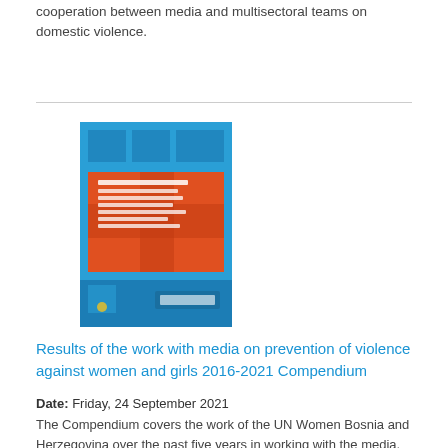cooperation between media and multisectoral teams on domestic violence.
[Figure (illustration): Book cover of the UN Women Bosnia and Herzegovina compendium on results of work with media on prevention of violence against women and girls 2016-2021. Blue and orange/red design with cross pattern.]
Results of the work with media on prevention of violence against women and girls 2016-2021 Compendium
Date: Friday, 24 September 2021
The Compendium covers the work of the UN Women Bosnia and Herzegovina over the past five years in working with the media, assessing their needs and capacities, and strengthening their role in preventing violence against women and girls and domestic violence.